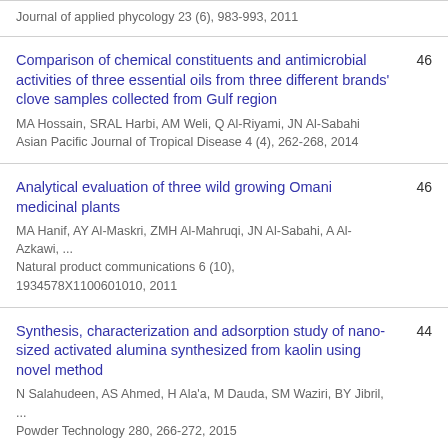Journal of applied phycology 23 (6), 983-993, 2011
Comparison of chemical constituents and antimicrobial activities of three essential oils from three different brands' clove samples collected from Gulf region
MA Hossain, SRAL Harbi, AM Weli, Q Al-Riyami, JN Al-Sabahi
Asian Pacific Journal of Tropical Disease 4 (4), 262-268, 2014
Analytical evaluation of three wild growing Omani medicinal plants
MA Hanif, AY Al-Maskri, ZMH Al-Mahruqi, JN Al-Sabahi, A Al-Azkawi, ...
Natural product communications 6 (10), 1934578X1100601010, 2011
Synthesis, characterization and adsorption study of nano-sized activated alumina synthesized from kaolin using novel method
N Salahudeen, AS Ahmed, H Ala'a, M Dauda, SM Waziri, BY Jibril, ...
Powder Technology 280, 266-272, 2015
Chemical composition of essential oil and bio activity